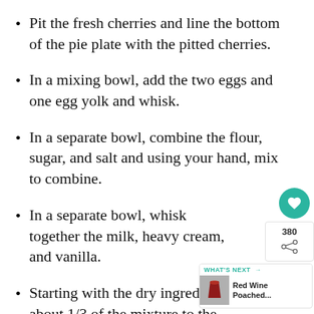Pit the fresh cherries and line the bottom of the pie plate with the pitted cherries.
In a mixing bowl, add the two eggs and one egg yolk and whisk.
In a separate bowl, combine the flour, sugar, and salt and using your hand, mix to combine.
In a separate bowl, whisk together the milk, heavy cream, and vanilla.
Starting with the dry ingredients, add about 1/3 of the mixture to the whisked